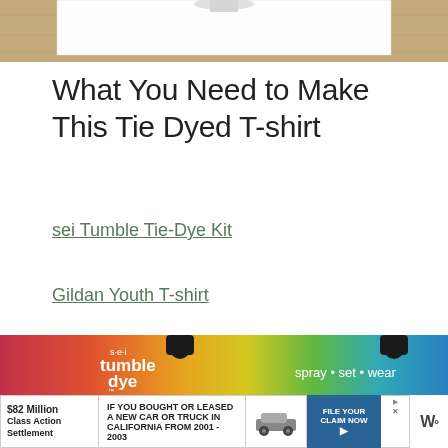[Figure (photo): Top portion of a white t-shirt laid flat on a wooden surface]
What You Need to Make This Tie Dyed T-shirt
sei Tumble Tie-Dye Kit
Gildan Youth T-shirt
[Figure (photo): sei tumble dye product box showing rainbow gradient colors with text: spray • set • wear, classic, ready to use • easy c]
[Figure (photo): Advertisement bar: $82 Million Class Action Settlement — IF YOU BOUGHT OR LEASED A NEW CAR OR TRUCK IN CALIFORNIA FROM 2001 - 2003 FILE YOUR CLAIM NOW]